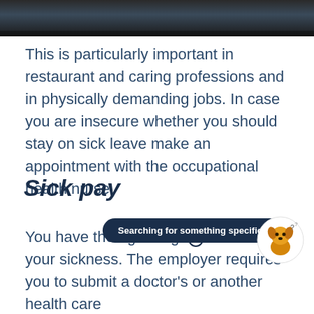[Figure (photo): Dark photograph strip at top of page, showing what appears to be a restaurant or workplace setting]
This is particularly important in restaurant and caring professions and in physically demanding jobs. In case you are insecure whether you should stay on sick leave make an appointment with the occupational health nurse.
Sick pay
You have the right to get paid during your sickness. The employer requires you to submit a doctor's or another health care
[Figure (infographic): Dark navy rounded tooltip bar reading 'Searching for something specific?' with a close X button and an illustrated dog mascot character on the right]